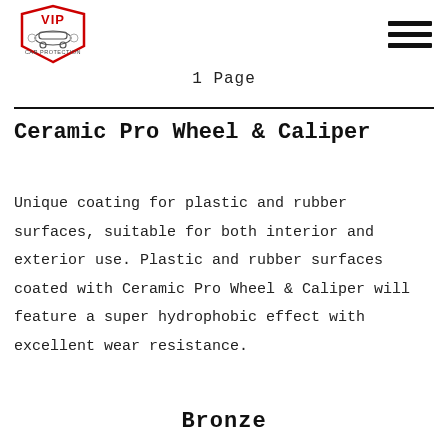VIP Car Protection logo and navigation menu
1 Page
Ceramic Pro Wheel & Caliper
Unique coating for plastic and rubber surfaces, suitable for both interior and exterior use. Plastic and rubber surfaces coated with Ceramic Pro Wheel & Caliper will feature a super hydrophobic effect with excellent wear resistance.
Bronze